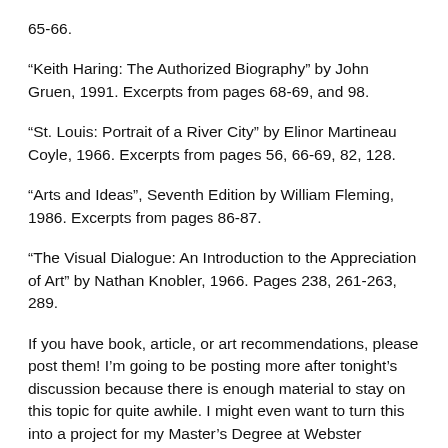65-66.
“Keith Haring: The Authorized Biography” by John Gruen, 1991. Excerpts from pages 68-69, and 98.
“St. Louis: Portrait of a River City” by Elinor Martineau Coyle, 1966. Excerpts from pages 56, 66-69, 82, 128.
“Arts and Ideas”, Seventh Edition by William Fleming, 1986. Excerpts from pages 86-87.
“The Visual Dialogue: An Introduction to the Appreciation of Art” by Nathan Knobler, 1966. Pages 238, 261-263, 289.
If you have book, article, or art recommendations, please post them! I’m going to be posting more after tonight’s discussion because there is enough material to stay on this topic for quite awhile. I might even want to turn this into a project for my Master’s Degree at Webster University, if I